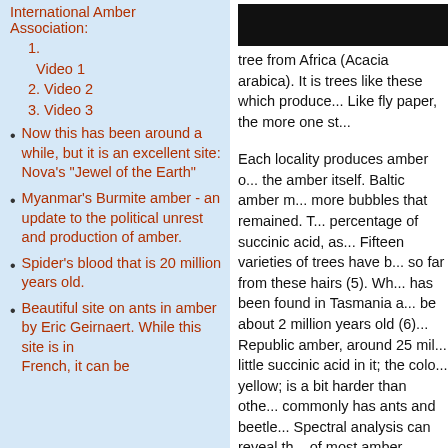International Amber Association:
1. Video 1
2. Video 2
3. Video 3
Now this has been around a while, but it is an excellent site: Nova's "Jewel of the Earth"
Myanmar's Burmite amber - an update to the political unrest and production of amber.
Spider's blood that is 20 million years old.
Beautiful site on ants in amber by Eric Geirnaert. While this site is in French, it can be
[Figure (photo): Dark image, partially visible, top of right column]
tree from Africa (Acacia arabica). It is trees like these which produce... Like fly paper, the more one st...
Each locality produces amber of... the amber itself. Baltic amber m... more bubbles that remained. T... percentage of succinic acid, as... Fifteen varieties of trees have b... so far from these hairs (5). Wh... has been found in Tasmania a... be about 2 million years old (6)... Republic amber, around 25 mil... little succinic acid in it; the colo... yellow; is a bit harder than othe... commonly has ants and beetle... Spectral analysis can reveal th... of most amber.
Amber comes in many colors. Typically amber golden... also be green, red blue and cl...